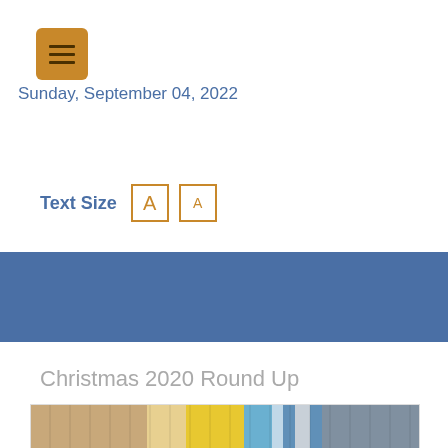[Figure (other): Hamburger menu button — golden/amber square with three horizontal dark lines]
Sunday, September 04, 2022
Text Size
[Figure (other): Blue horizontal banner/navigation bar]
Christmas 2020 Round Up
[Figure (photo): Wide panoramic thumbnail strip showing a Christmas 2020 round-up image with wooden, yellow, and blue tones]